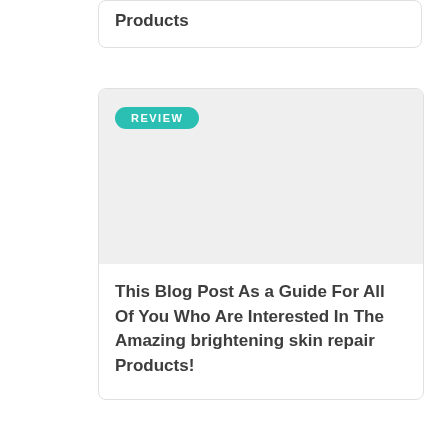Products
[Figure (other): Blog post card with a REVIEW badge and a light gray image placeholder area]
This Blog Post As a Guide For All Of You Who Are Interested In The Amazing brightening skin repair Products!